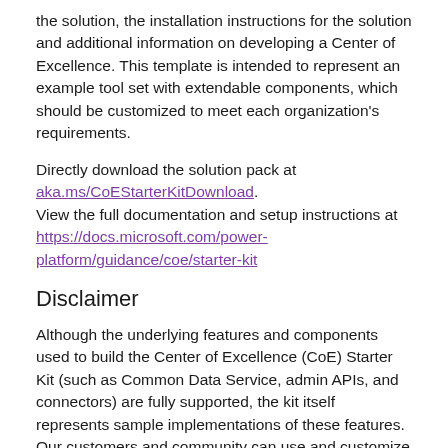the solution, the installation instructions for the solution and additional information on developing a Center of Excellence. This template is intended to represent an example tool set with extendable components, which should be customized to meet each organization's requirements.
Directly download the solution pack at aka.ms/CoEStarterKitDownload. View the full documentation and setup instructions at https://docs.microsoft.com/power-platform/guidance/coe/starter-kit
Disclaimer
Although the underlying features and components used to build the Center of Excellence (CoE) Starter Kit (such as Common Data Service, admin APIs, and connectors) are fully supported, the kit itself represents sample implementations of these features. Our customers and community can use and customize these features to implement admin and governance capabilities in their organizations.